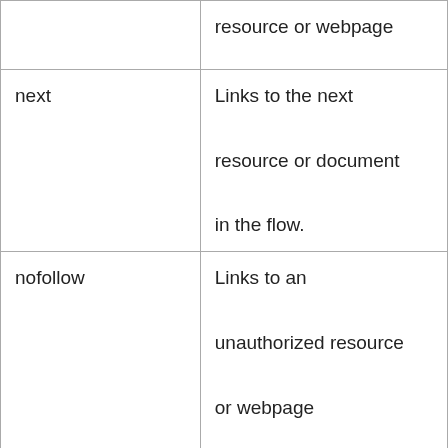|  |  |
| --- | --- |
|  | resource or webpage |
| next | Links to the next resource or document in the flow. |
| nofollow | Links to an unauthorized resource or webpage

(Google spiders or bots use this information for not following the linked |